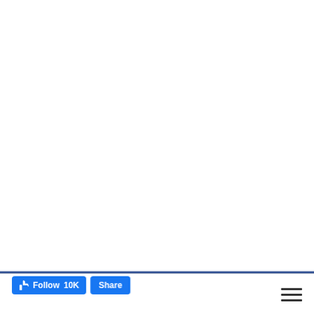[Figure (screenshot): Large white empty area — main content region of a webpage, mostly blank white space]
[Figure (screenshot): Facebook social plugin bar with a blue horizontal rule, a thumbs-up Follow button showing 10K followers, a Share button, and a hamburger menu icon in the bottom-right corner]